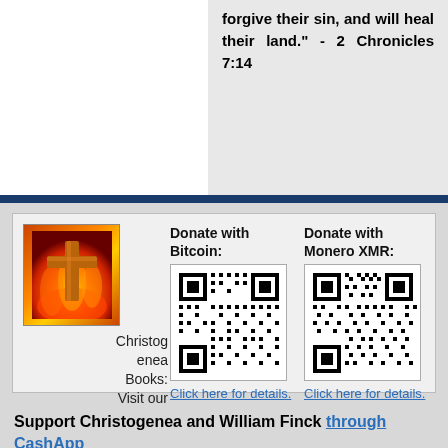forgive their sin, and will heal their land." - 2 Chronicles 7:14
[Figure (illustration): A golden cross with fire/flames background image representing Christogenea Books]
Christogenea Books: Visit our page at Christogenea.com.
Donate with Bitcoin:
[Figure (other): Bitcoin donation QR code]
Click here for details.
Donate with Monero XMR:
[Figure (other): Monero XMR donation QR code]
Click here for details.
Support Christogenea and William Finck through CashApp